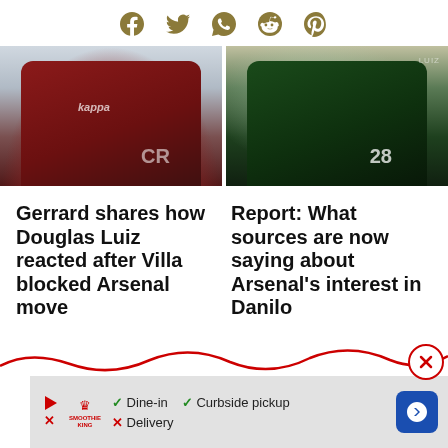Social share icons: Facebook, Twitter, WhatsApp, Reddit, Pinterest
[Figure (photo): Left: Soccer player in dark red/maroon Aston Villa jersey, Kappa kit, number visible]
[Figure (photo): Right: Soccer player in dark green Palmeiras jersey, number 28 visible]
Gerrard shares how Douglas Luiz reacted after Villa blocked Arsenal move
Report: What sources are now saying about Arsenal's interest in Danilo
[Figure (other): Advertisement banner: Smoothie King ad with Dine-in checkmark, Curbside pickup checkmark, Delivery X mark, and navigation arrow]
[Figure (other): Red wavy decorative line with close (X) button circle]